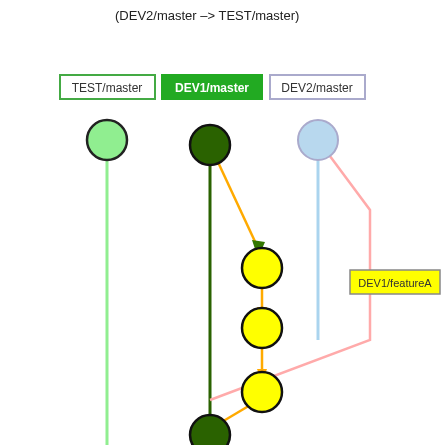(DEV2/master -> TEST/master)
[Figure (flowchart): Git branch diagram showing DEV1/master commits (dark green circles) with a feature branch (DEV1/featureA) creating yellow commits that merge back to DEV1/master, DEV2/master (light blue circle) with a pink branch line, and TEST/master (light green circle). Arrows in orange/yellow show commit flow from DEV1/master through yellow feature commits and back to DEV1/master.]